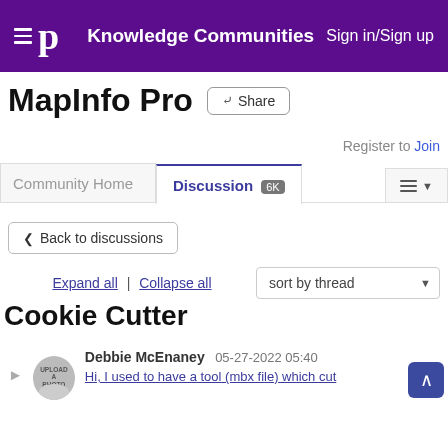Knowledge Communities  Sign in/Sign up
MapInfo Pro
Register to Join
Community Home  Discussion 6K
Back to discussions
Expand all | Collapse all  sort by thread
Cookie Cutter
Debbie McEnaney  05-27-2022 05:40
Hi, I used to have a tool (mbx file) which cut